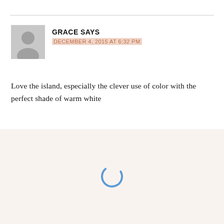GRACE SAYS
DECEMBER 4, 2015 AT 6:32 PM
Love the island, especially the clever use of color with the perfect shade of warm white
[Figure (illustration): Loading spinner icon — a blue arc/circle indicating content loading]